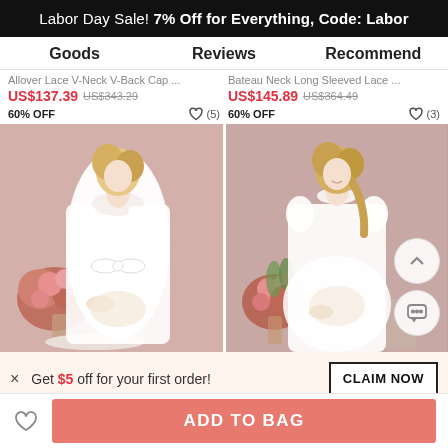Labor Day Sale! 7% Off for Everything, Code: Labor
Goods   Reviews   Recommend
Allover Lace V-Neck V-Back Cap ... US$137.39 US$343.29 60% OFF (5)
Bateau Neck Long Sleeved Lace ... US$145.89 US$364.49 60% OFF (3)
[Figure (photo): Two product photos of white maternity dresses worn by blonde models, with pink floral backgrounds]
× Get $5 off for your first order!   CLAIM NOW
ADD TO BAG